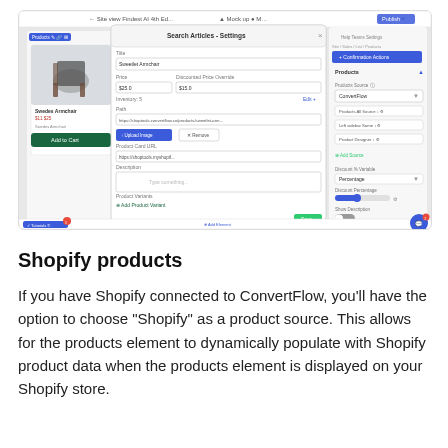[Figure (screenshot): A screenshot of a web application interface showing a ConvertFlow product editor with a modal dialog titled 'Search Articles - Settings'. The modal has fields for Title (Sweetlet Armchair), Price ($25.0), Discounted Price Override ($15.0), Inventory, Path URL, Upload Image button, Remove button, Product Card URL, and Description. There is a dark green 'Add Product Variant' button and a green 'Save' button. The background shows a furniture store product listing with a black armchair labeled 'Swedes Armchair' and an 'Add to Cart' button. The right panel shows product settings including Product Source dropdown showing 'ConvertFlow', and other configuration options.]
Shopify products
If you have Shopify connected to ConvertFlow, you'll have the option to choose "Shopify" as a product source. This allows for the products element to dynamically populate with Shopify product data when the products element is displayed on your Shopify store.